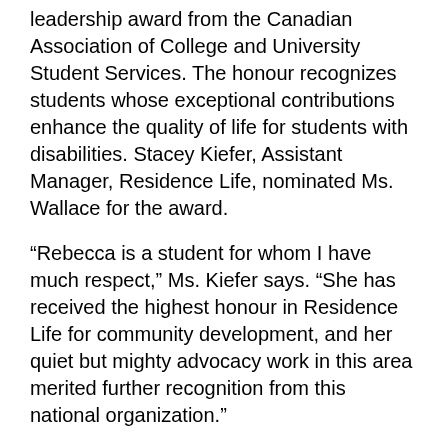leadership award from the Canadian Association of College and University Student Services. The honour recognizes students whose exceptional contributions enhance the quality of life for students with disabilities. Stacey Kiefer, Assistant Manager, Residence Life, nominated Ms. Wallace for the award.
“Rebecca is a student for whom I have much respect,” Ms. Kiefer says. “She has received the highest honour in Residence Life for community development, and her quiet but mighty advocacy work in this area merited further recognition from this national organization.”
Ms. Wallace will return to Queen’s this fall to begin her PhD in political studies under the supervision of Keith Banting and Elizabeth Goodyear-Grant. She anticipates continuing to offer “invisAbility” training to staff and students this coming year as a senior don.
“We can always use more accessibility training and awareness in any capacity on campus, so I am really